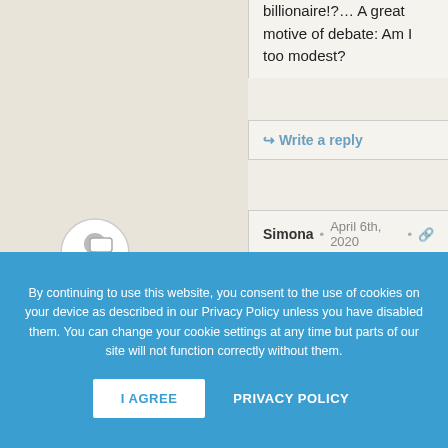billionaire!?… A great motive of debate: Am I too modest?
Write a reply
Simona • April 6th, 2020 •
no dear, you didn't take out a patent. Anyway most inventors remained poor, it's the businessmen who bought the rights to the inventions and marketed them who are rich. Take the inventor of insulin for diabetics for example.
By continuing to use this website, you consent to the use of cookies on your device as described in our Privacy Policy unless you have disabled them. You can change your cookie settings at any time but parts of our site will not function correctly without them.
I AGREE
PRIVACY POLICY